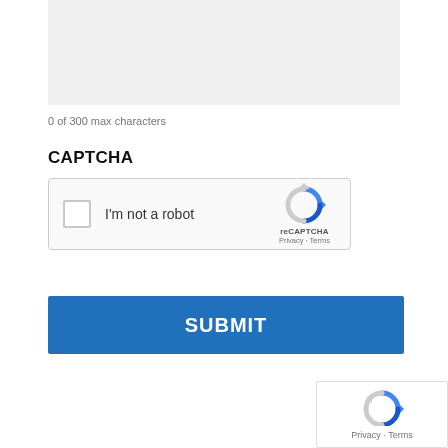[Figure (screenshot): Light gray textarea input box placeholder, partially visible at top of page]
0 of 300 max characters
CAPTCHA
[Figure (screenshot): reCAPTCHA widget with checkbox labeled I'm not a robot and reCAPTCHA logo with Privacy - Terms links]
[Figure (screenshot): SUBMIT button, blue rectangle with white bold text]
[Figure (screenshot): Partial reCAPTCHA badge in bottom right corner showing logo and Privacy - Terms text]